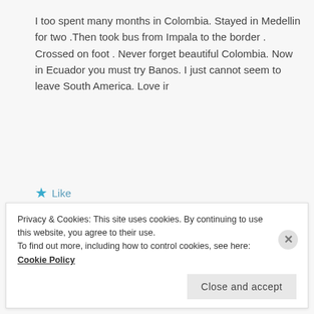I too spent many months in Colombia. Stayed in Medellin for two .Then took bus from Impala to the border . Crossed on foot . Never forget beautiful Colombia. Now in Ecuador you must try Banos. I just cannot seem to leave South America. Love ir
★ Like
[Figure (photo): Profile photo of Stuart Goodwin showing a person outdoors]
Stuart Goodwin
Privacy & Cookies: This site uses cookies. By continuing to use this website, you agree to their use.
To find out more, including how to control cookies, see here: Cookie Policy
Close and accept